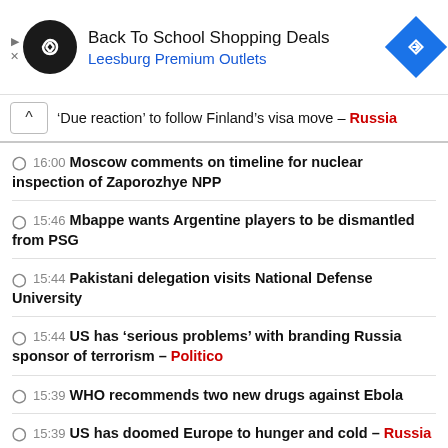[Figure (infographic): Advertisement banner: Back To School Shopping Deals at Leesburg Premium Outlets with black circular logo and blue diamond navigation icon]
'Due reaction' to follow Finland's visa move – Russia
16:00 Moscow comments on timeline for nuclear inspection of Zaporozhye NPP
15:46 Mbappe wants Argentine players to be dismantled from PSG
15:44 Pakistani delegation visits National Defense University
15:44 US has 'serious problems' with branding Russia sponsor of terrorism – Politico
15:39 WHO recommends two new drugs against Ebola
15:39 US has doomed Europe to hunger and cold – Russia